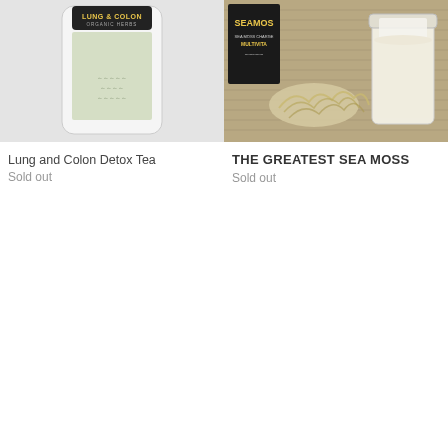[Figure (photo): Product image of Lung and Colon Detox Tea package with organic herbs label]
Lung and Colon Detox Tea
Sold out
[Figure (photo): Product image of The Greatest Sea Moss with a jar of white liquid and dried sea moss on a bamboo mat]
THE GREATEST SEA MOSS
Sold out